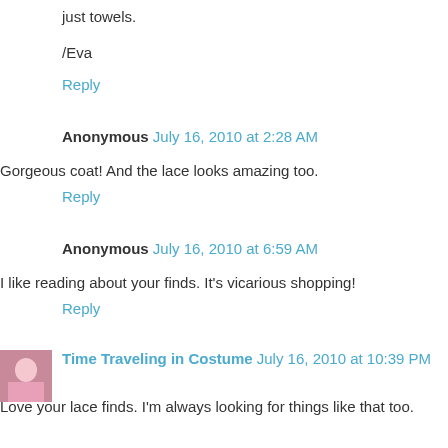just towels.
/Eva
Reply
Anonymous  July 16, 2010 at 2:28 AM
Gorgeous coat! And the lace looks amazing too.
Reply
Anonymous  July 16, 2010 at 6:59 AM
I like reading about your finds. It's vicarious shopping!
Reply
Time Traveling in Costume  July 16, 2010 at 10:39 PM
Love your lace finds. I'm always looking for things like that too.